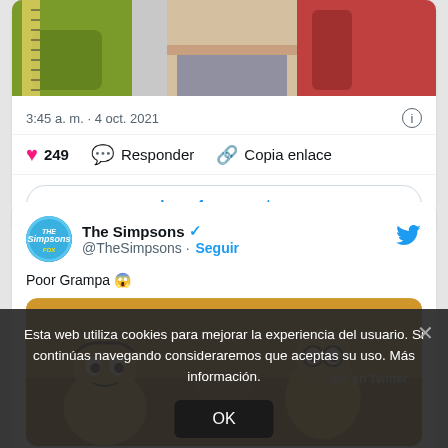[Figure (screenshot): Top portion of a tweet card showing a cartoon image (partial view of an animated character, appears to be from Family Guy or similar)]
3:45 a. m. · 4 oct. 2021
249   Responder   Copia enlace
Leer 4 respuestas
[Figure (screenshot): Second tweet card from @TheSimpsons (The Simpsons verified account) with text 'Poor Grampa' and a Simpsons cartoon image below]
The Simpsons @TheSimpsons · Seguir
Poor Grampa 😱
Esta web utiliza cookies para mejorar la experiencia del usuario. Si continúas navegando consideraremos que aceptas su uso. Más información.
OK